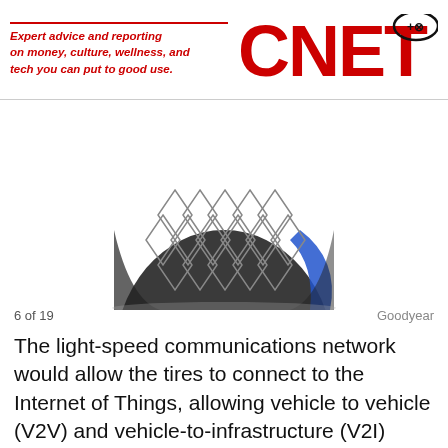Expert advice and reporting on money, culture, wellness, and tech you can put to good use.
[Figure (photo): Close-up of a futuristic Goodyear tire concept with a textured lattice/diamond pattern surface, dark gray color, with a blue accent visible on the right side, viewed from a low angle.]
6 of 19   Goodyear
The light-speed communications network would allow the tires to connect to the Internet of Things, allowing vehicle to vehicle (V2V) and vehicle-to-infrastructure (V2I) communication.